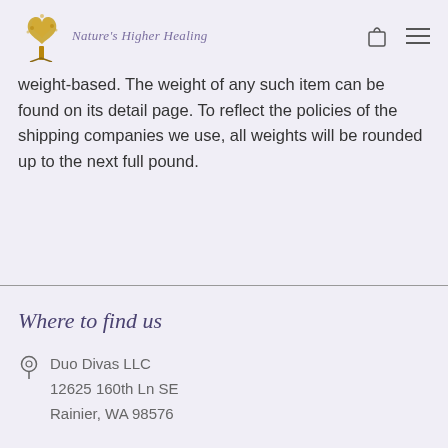Nature's Higher Healing
weight-based. The weight of any such item can be found on its detail page. To reflect the policies of the shipping companies we use, all weights will be rounded up to the next full pound.
Where to find us
Duo Divas LLC
12625 160th Ln SE
Rainier, WA 98576